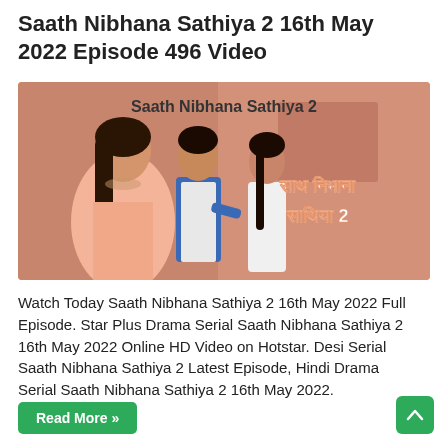Saath Nibhana Sathiya 2 16th May 2022 Episode 496 Video
[Figure (photo): Promotional image for Saath Nibhana Sathiya 2 TV show. Shows three characters: a woman in a peach/salmon saree in the foreground, a man in a blue jacket and white kurta in the middle, and a woman in white clothing on the right. Orange/salmon background with Hindi text reading 'Saath Nibhana Sathiya 2' in Devanagari script on the right side. Show title 'Saath Nibhana Sathiya 2' in English at the top center.]
Watch Today Saath Nibhana Sathiya 2 16th May 2022 Full Episode. Star Plus Drama Serial Saath Nibhana Sathiya 2 16th May 2022 Online HD Video on Hotstar. Desi Serial Saath Nibhana Sathiya 2 Latest Episode, Hindi Drama Serial Saath Nibhana Sathiya 2 16th May 2022.